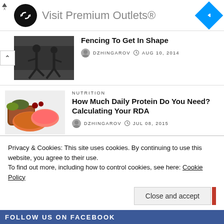[Figure (screenshot): Advertisement banner: black circle logo with infinity-arrows icon, 'Visit Premium Outlets®' text in gray, blue diamond navigation arrow icon on right, skip controls on far left]
Fencing To Get In Shape
DZHINGAROV   AUG 10, 2014
NUTRITION
How Much Daily Protein Do You Need? Calculating Your RDA
DZHINGAROV   JUL 08, 2015
DISEASE&CONDITIONS
Privacy & Cookies: This site uses cookies. By continuing to use this website, you agree to their use.
To find out more, including how to control cookies, see here: Cookie Policy
Close and accept
FOLLOW US ON FACEBOOK